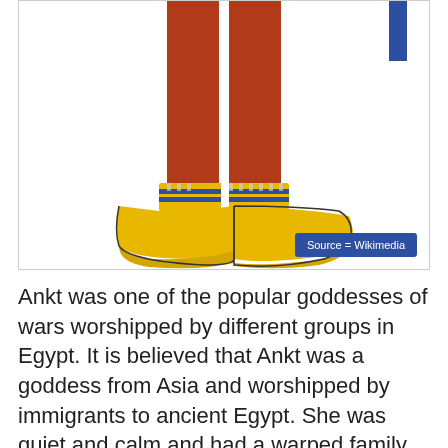[Figure (illustration): Close-up illustration of an Egyptian deity's lower legs and feet, showing reddish-brown legs wearing yellow sandals/shoes with blue and yellow striped ankle decoration. A small blue vertical element is visible at the top right. Source credited to Wikimedia.]
Ankt was one of the popular goddesses of wars worshipped by different groups in Egypt. It is believed that Ankt was a goddess from Asia and worshipped by immigrants to ancient Egypt. She was quiet and calm and had a warped family history like the Greek gods.